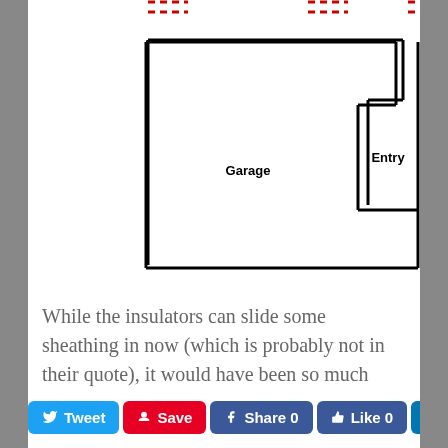[Figure (engineering-diagram): Floor plan diagram showing Garage and Entry areas with red dashed lines at top indicating problem areas. Annotations on right: 'My fixes - eliminate wasted space in garage & inside entryway' and 'Add sheathing like above to align air-barrier & insulation']
While the insulators can slide some sheathing in now (which is probably not in their quote), it would have been so much easier if it was added before they had framed out the thick wall portion. As for mine...
Sorry but I don't know how many people wouldn't love to have a few additional feet in their garage. Maybe a full size tool box might fit there, but I could easily see some shovels being hung t
Tweet  Save  Share 0  Like 0  SHARE  <share icon>